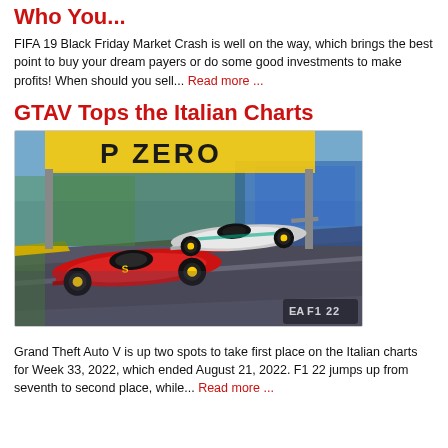Who You...
FIFA 19 Black Friday Market Crash is well on the way, which brings the best point to buy your dream payers or do some good investments to make profits! When should you sell... Read more ...
GTAV Tops the Italian Charts
[Figure (photo): Screenshot from F1 22 video game showing two Formula 1 cars (red Ferrari and white Mercedes) racing on a track with P ZERO branding overhead and EA F1 22 logo in the corner.]
Grand Theft Auto V is up two spots to take first place on the Italian charts for Week 33, 2022, which ended August 21, 2022. F1 22 jumps up from seventh to second place, while... Read more ...